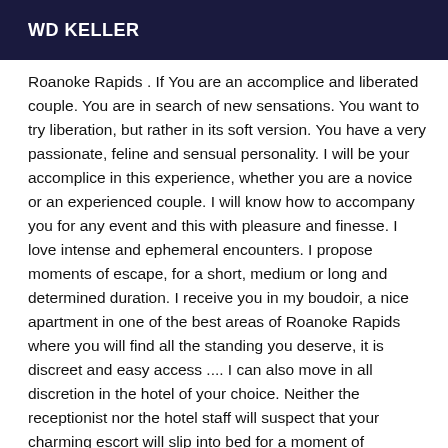WD KELLER
Roanoke Rapids . If You are an accomplice and liberated couple. You are in search of new sensations. You want to try liberation, but rather in its soft version. You have a very passionate, feline and sensual personality. I will be your accomplice in this experience, whether you are a novice or an experienced couple. I will know how to accompany you for any event and this with pleasure and finesse. I love intense and ephemeral encounters. I propose moments of escape, for a short, medium or long and determined duration. I receive you in my boudoir, a nice apartment in one of the best areas of Roanoke Rapids where you will find all the standing you deserve, it is discreet and easy access .... I can also move in all discretion in the hotel of your choice. Neither the receptionist nor the hotel staff will suspect that your charming escort will slip into bed for a moment of ecstasy.... Come and join me in Roanoke Rapids Please keep in mind that I do not answer to the S.M.S. nor to